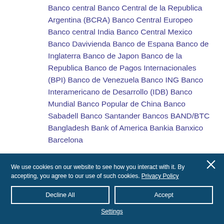Banco central Banco Central de la Republica Argentina (BCRA) Banco Central Europeo Banco central India Banco Central Mexico Banco Davivienda Banco de Espana Banco de Inglaterra Banco de Japon Banco de la Republica Banco de Pagos Internacionales (BPI) Banco de Venezuela Banco ING Banco Interamericano de Desarrollo (IDB) Banco Mundial Banco Popular de China Banco Sabadell Banco Santander Bancos BAND/BTC Bangladesh Bank of America Bankia Banxico Barcelona
We use cookies on our website to see how you interact with it. By accepting, you agree to our use of such cookies. Privacy Policy
Decline All
Accept
Settings